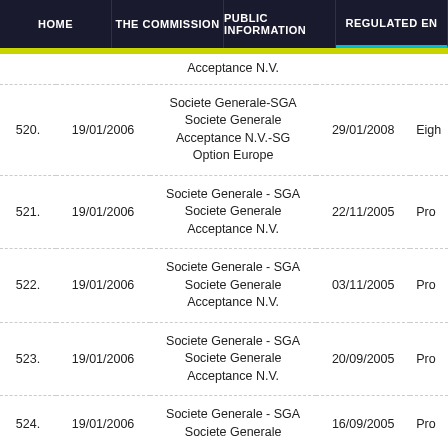HOME | THE COMMISSION | PUBLIC INFORMATION | REGULATED EN...
| No. | Date | Name | Doc Date | Type |
| --- | --- | --- | --- | --- |
|  |  | Acceptance N.V. |  |  |
| 520. | 19/01/2006 | Societe Generale-SGA Societe Generale Acceptance N.V.-SG Option Europe | 29/01/2008 | Eigh |
| 521. | 19/01/2006 | Societe Generale - SGA Societe Generale Acceptance N.V. | 22/11/2005 | Pro |
| 522. | 19/01/2006 | Societe Generale - SGA Societe Generale Acceptance N.V. | 03/11/2005 | Pro |
| 523. | 19/01/2006 | Societe Generale - SGA Societe Generale Acceptance N.V. | 20/09/2005 | Pro |
| 524. | 19/01/2006 | Societe Generale - SGA Societe Generale | 16/09/2005 | Pro |